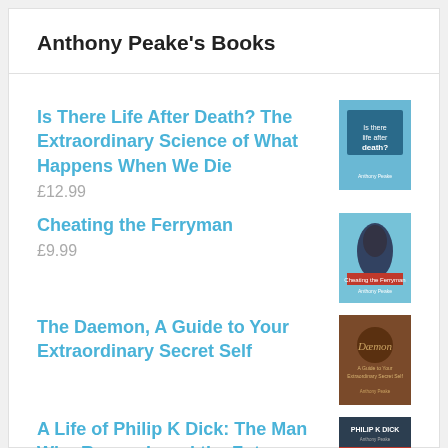Anthony Peake's Books
Is There Life After Death? The Extraordinary Science of What Happens When We Die
£12.99
Cheating the Ferryman
£9.99
The Daemon, A Guide to Your Extraordinary Secret Self
A Life of Philip K Dick: The Man Who Remembered the Future